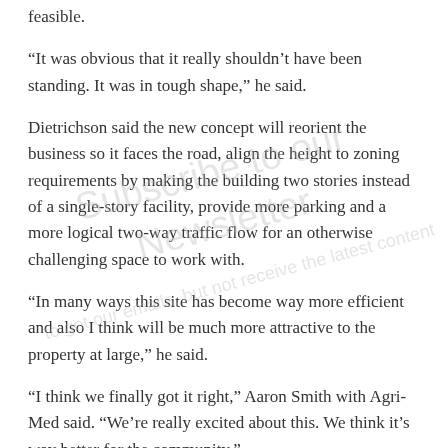feasible.
“It was obvious that it really shouldn’t have been standing. It was in tough shape,” he said.
Dietrichson said the new concept will reorient the business so it faces the road, align the height to zoning requirements by making the building two stories instead of a single-story facility, provide more parking and a more logical two-way traffic flow for an otherwise challenging space to work with.
“In many ways this site has become way more efficient and also I think will be much more attractive to the property at large,” he said.
“I think we finally got it right,” Aaron Smith with Agri-Med said. “We’re really excited about this. We think it’s way better for the community.”
The 3,380-square-foot facility will be the first New Standard provisioning center in Grand Rapids. Smith said they plan to commission a local artist to create a